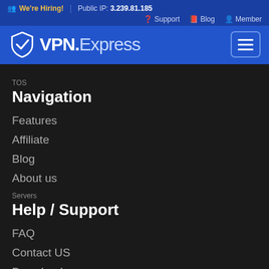We're Hiring! | Public IP: 3.239.81.185
Support  Blog  Member
[Figure (logo): VPN.Express logo with shield checkmark icon and hamburger menu button]
TOS
Navigation
Features
Affiliate
Blog
About us
Servers
Help / Support
FAQ
Contact US
Downloads
Webmasters